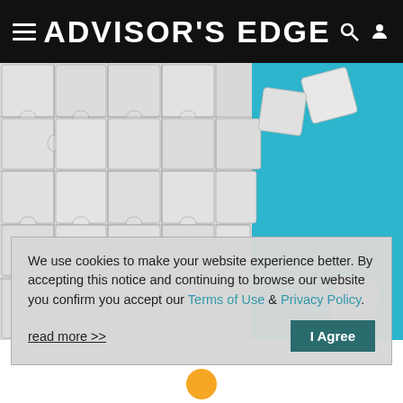ADVISOR'S EDGE
[Figure (photo): White jigsaw puzzle pieces partially assembled on a teal/blue background, with several pieces missing revealing the blue surface. Two loose pieces floating in the upper right area.]
We use cookies to make your website experience better. By accepting this notice and continuing to browse our website you confirm you accept our Terms of Use & Privacy Policy.
read more >>
I Agree